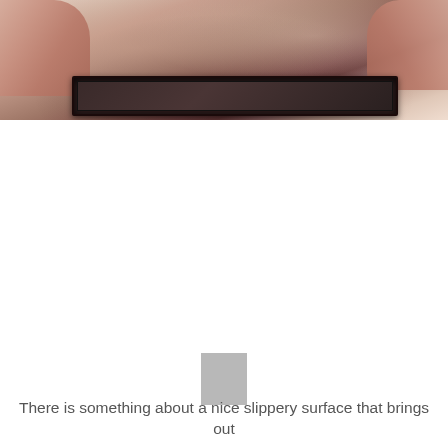[Figure (photo): Close-up photo of hands on or near a laptop/monitor keyboard, with a dark monitor frame visible at the bottom of the image. Warm skin tones against a light background.]
[Figure (other): Small grey rectangle shape positioned above the text, likely a decorative or placeholder graphic element.]
There is something about a nice slippery surface that brings out